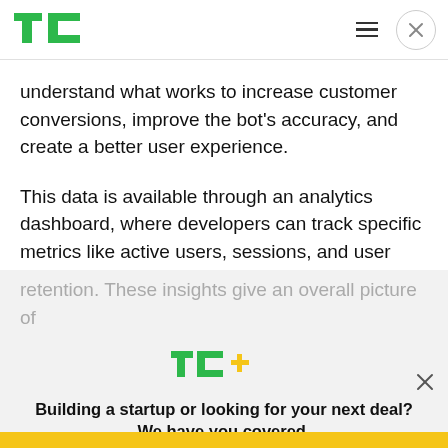TechCrunch header with logo, hamburger menu, and close button
understand what works to increase customer conversions, improve the bot's accuracy, and create a better user experience.
This data is available through an analytics dashboard, where developers can track specific metrics like active users, sessions, and user retention. These insights give an overall picture of
[Figure (logo): TC+ logo in green and yellow]
Building a startup or looking for your next deal? We have you covered.
EXPLORE NOW